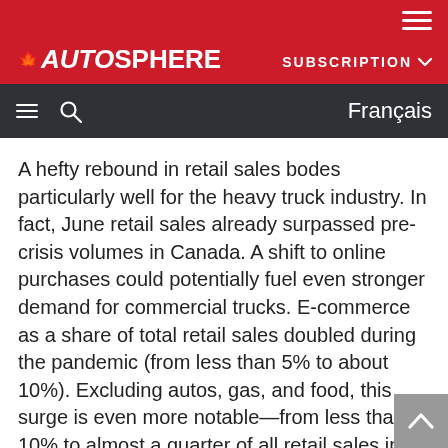AUTOSPHERE — SUBSCRIPTION
A hefty rebound in retail sales bodes particularly well for the heavy truck industry. In fact, June retail sales already surpassed pre-crisis volumes in Canada. A shift to online purchases could potentially fuel even stronger demand for commercial trucks. E-commerce as a share of total retail sales doubled during the pandemic (from less than 5% to about 10%). Excluding autos, gas, and food, this surge is even more notable—from less than 10% to almost a quarter of all retail sales in April. This can be expected to fall back as consumers are increasingly venturing